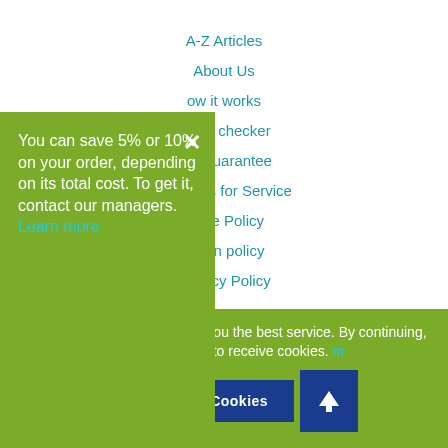A-Z Articles
About Us
How it works
Plagiarism checker
Content Guarantee
Conditions for Service
Cookie Policy
Revision policy
Privacy Policy
FAQ
You can save 5% or 10% on your order, depending on its total cost. To get it, contact our managers. Learn more
Our site uses cookies to offer you the best service. By continuing, you are agreeing to receive cookies. Learn more
Accept Cookies